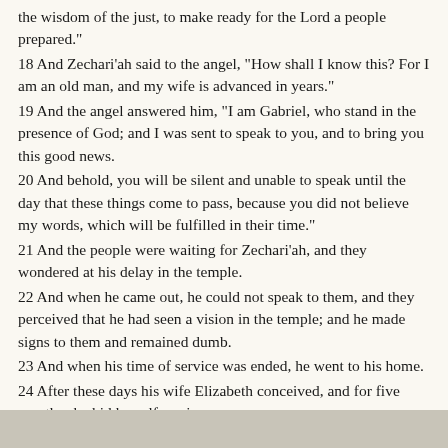the wisdom of the just, to make ready for the Lord a people prepared."
18 And Zechari'ah said to the angel, "How shall I know this? For I am an old man, and my wife is advanced in years."
19 And the angel answered him, "I am Gabriel, who stand in the presence of God; and I was sent to speak to you, and to bring you this good news.
20 And behold, you will be silent and unable to speak until the day that these things come to pass, because you did not believe my words, which will be fulfilled in their time."
21 And the people were waiting for Zechari'ah, and they wondered at his delay in the temple.
22 And when he came out, he could not speak to them, and they perceived that he had seen a vision in the temple; and he made signs to them and remained dumb.
23 And when his time of service was ended, he went to his home.
24 After these days his wife Elizabeth conceived, and for five months she hid herself, saying,
25 "Thus the Lord has done to me in the days when he looked on me, to take away my reproach among men."